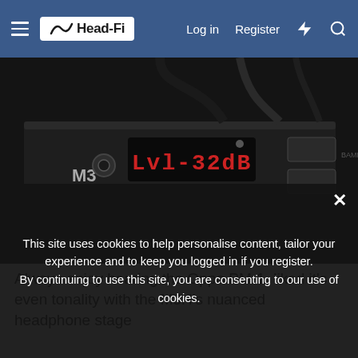Head-Fi | Log in | Register
[Figure (photo): Close-up of audio equipment showing M3 DAC/amplifier with red LED display reading Lvl-32dB and cables connected]
Always enjoy hearing the Oppo PM-1, liked it's even tonality with the M3H's nuanced headphone stage
[Figure (photo): Partial view of headphones on a bluish-grey surface]
This site uses cookies to help personalise content, tailor your experience and to keep you logged in if you register. By continuing to use this site, you are consenting to our use of cookies.